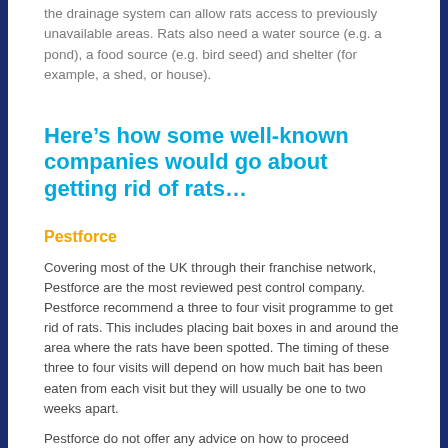the drainage system can allow rats access to previously unavailable areas. Rats also need a water source (e.g. a pond), a food source (e.g. bird seed) and shelter (for example, a shed, or house).
Here’s how some well-known companies would go about getting rid of rats…
Pestforce
Covering most of the UK through their franchise network, Pestforce are the most reviewed pest control company. Pestforce recommend a three to four visit programme to get rid of rats. This includes placing bait boxes in and around the area where the rats have been spotted. The timing of these three to four visits will depend on how much bait has been eaten from each visit but they will usually be one to two weeks apart.
Pestforce do not offer any advice on how to proceed